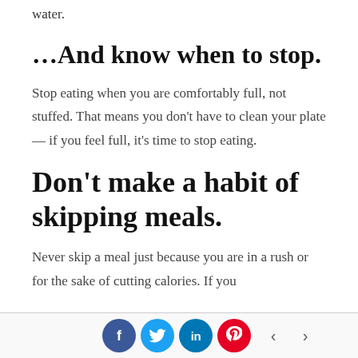water.
…And know when to stop.
Stop eating when you are comfortably full, not stuffed. That means you don't have to clean your plate — if you feel full, it's time to stop eating.
Don't make a habit of skipping meals.
Never skip a meal just because you are in a rush or for the sake of cutting calories. If you
Social share bar with Facebook, Twitter, LinkedIn, Pinterest buttons and navigation arrows